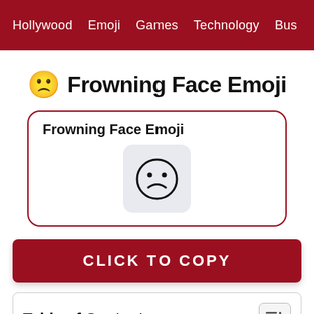Hollywood  Emoji  Games  Technology  Bus
🙁 Frowning Face Emoji
[Figure (illustration): A card with 'Frowning Face Emoji' text and a frowning face emoji icon displayed in a light rounded box, surrounded by a dark red border]
Click to Copy
Table of Contents
Frowning Face Emoji Meaning: